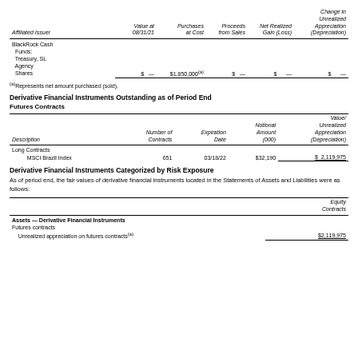| Affiliated Issuer | Value at 08/31/21 | Purchases at Cost | Proceeds from Sales | Net Realized Gain (Loss) | Change in Unrealized Appreciation (Depreciation) |
| --- | --- | --- | --- | --- | --- |
| BlackRock Cash Funds: Treasury, SL Agency Shares | $  — | $1,850,000(a) | $  — | $  — | $  — |
(a)Represents net amount purchased (sold).
Derivative Financial Instruments Outstanding as of Period End
Futures Contracts
| Description | Number of Contracts | Expiration Date | Notional Amount (000) | Value/ Unrealized Appreciation (Depreciation) |
| --- | --- | --- | --- | --- |
| Long Contracts |  |  |  |  |
|   MSCI Brazil Index | 651 | 03/18/22 | $32,190 | $ 2,119,975 |
Derivative Financial Instruments Categorized by Risk Exposure
As of period end, the fair values of derivative financial instruments located in the Statements of Assets and Liabilities were as follows:
|  | Equity Contracts |
| --- | --- |
| Assets — Derivative Financial Instruments |  |
| Futures contracts |  |
|   Unrealized appreciation on futures contracts(a) | $2,119,975 |